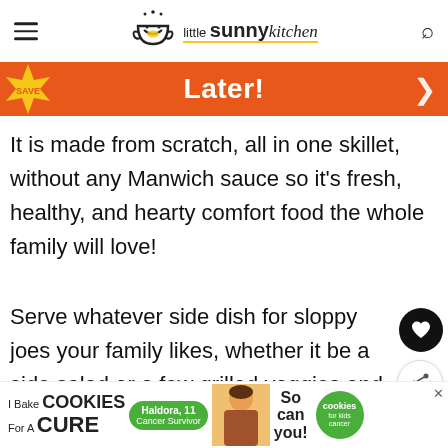little sunny kitchen
[Figure (screenshot): Orange promotional banner with text 'Later!' in bold white on orange background]
It is made from scratch, all in one skillet, without any Manwich sauce so it's fresh, healthy, and hearty comfort food the whole family will love!
Serve whatever side dish for sloppy joes your family likes, whether it be a side salad or a few grilled veggies and you've got a qui...
[Figure (screenshot): Advertisement banner: I Bake COOKIES For A CURE - Haldora, 11 Cancer Survivor - So can you! cookies for kids cancer]